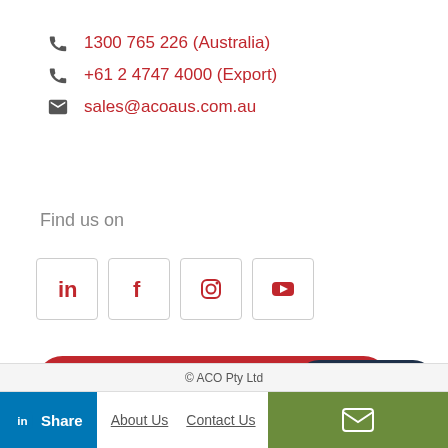1300 765 226 (Australia)
+61 2 4747 4000 (Export)
sales@acoaus.com.au
Find us on
[Figure (other): Social media icons: LinkedIn, Facebook, Instagram, YouTube]
Sign up to ACO newsletter
SUBSCRIBE
© ACO Pty Ltd
Share
About Us   Contact Us